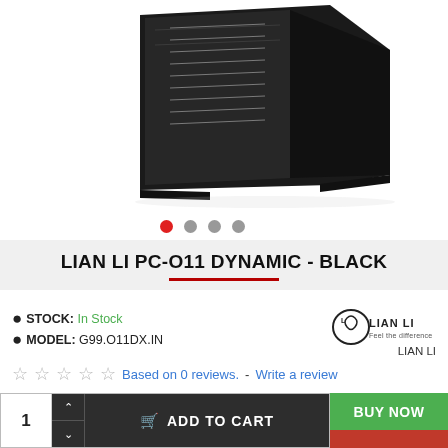[Figure (photo): Black Lian Li PC-O11 Dynamic computer case photographed at an angle, showing the tempered glass side panel and black chassis.]
● (carousel dots: 1 active, 3 inactive)
LIAN LI PC-O11 DYNAMIC - BLACK
● STOCK: In Stock
● MODEL: G99.O11DX.IN
[Figure (logo): Lian Li logo with tagline 'Feel the difference']
LIAN LI
☆ ☆ ☆ ☆ ☆ Based on 0 reviews. - Write a review
1  ADD TO CART   BUY NOW